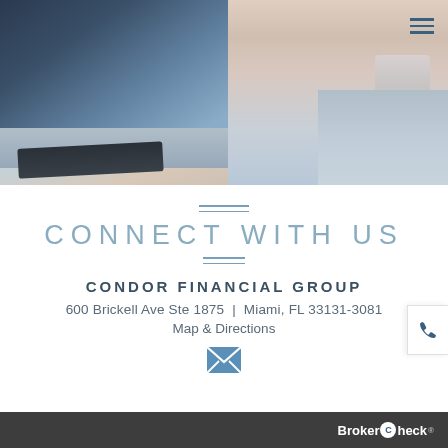[Figure (photo): Photo banner showing a laptop, smartphone, and person's hand on a desk, with a hamburger menu icon in the top right corner.]
CONNECT WITH US
CONDOR FINANCIAL GROUP
600 Brickell Ave Ste 1875  |  Miami, FL 33131-3081
Map & Directions
[Figure (illustration): Blue envelope/email icon]
BrokerCheck